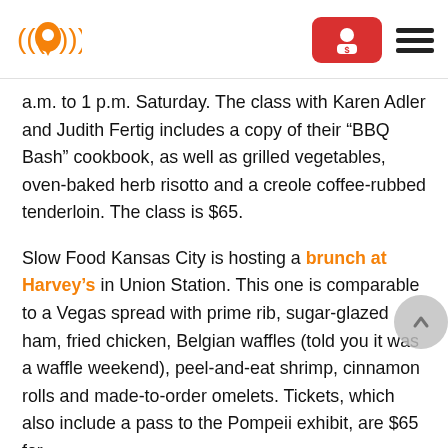[Logo: location pin with sound waves] [Red button with person/dollar icon] [Hamburger menu]
a.m. to 1 p.m. Saturday. The class with Karen Adler and Judith Fertig includes a copy of their “BBQ Bash” cookbook, as well as grilled vegetables, oven-baked herb risotto and a creole coffee-rubbed tenderloin. The class is $65.
Slow Food Kansas City is hosting a brunch at Harvey’s in Union Station. This one is comparable to a Vegas spread with prime rib, sugar-glazed ham, fried chicken, Belgian waffles (told you it was a waffle weekend), peel-and-eat shrimp, cinnamon rolls and made-to-order omelets. Tickets, which also include a pass to the Pompeii exhibit, are $65 for